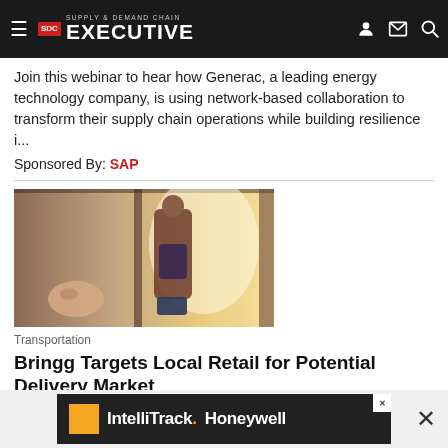Supply & Demand Chain Executive
Join this webinar to hear how Generac, a leading energy technology company, is using network-based collaboration to transform their supply chain operations while building resilience i...
Sponsored By: SAP
[Figure (photo): Person arriving at door with luggage, delivery/transportation themed photo]
Transportation
Bringg Targets Local Retail for Potential Delivery Market
[Figure (other): IntelliTrack. Honeywell advertisement banner]
Last-mile delivery continues to grow in all segments, including